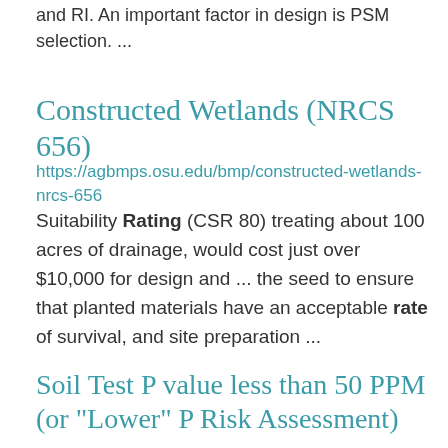and RI. An important factor in design is PSM selection. ...
Constructed Wetlands (NRCS 656)
https://agbmps.osu.edu/bmp/constructed-wetlands-nrcs-656
Suitability Rating (CSR 80) treating about 100 acres of drainage, would cost just over $10,000 for design and ... the seed to ensure that planted materials have an acceptable rate of survival, and site preparation ...
Soil Test P value less than 50 PPM (or "Lower" P Risk Assessment)